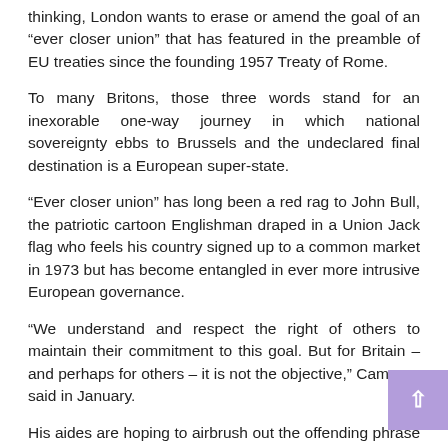thinking, London wants to erase or amend the goal of an “ever closer union” that has featured in the preamble of EU treaties since the founding 1957 Treaty of Rome.
To many Britons, those three words stand for an inexorable one-way journey in which national sovereignty ebbs to Brussels and the undeclared final destination is a European super-state.
“Ever closer union” has long been a red rag to John Bull, the patriotic cartoon Englishman draped in a Union Jack flag who feels his country signed up to a common market in 1973 but has become entangled in ever more intrusive European governance.
“We understand and respect the right of others to maintain their commitment to this goal. But for Britain – and perhaps for others – it is not the objective,” Cameron said in January.
His aides are hoping to airbrush out the offending phrase or make clear it applies only to those, notably in the euro area, who want to pursue deeper integration.